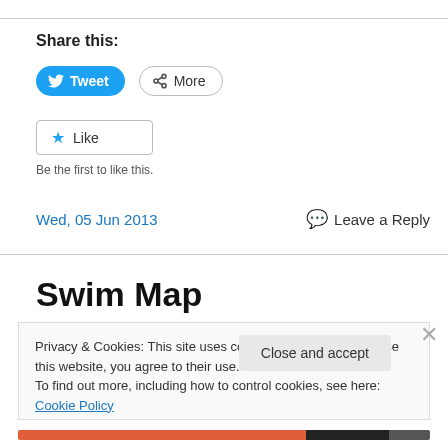Share this:
Tweet  More
Like
Be the first to like this.
Wed, 05 Jun 2013    Leave a Reply
Swim Map
Privacy & Cookies: This site uses cookies. By continuing to use this website, you agree to their use.
To find out more, including how to control cookies, see here: Cookie Policy
Close and accept